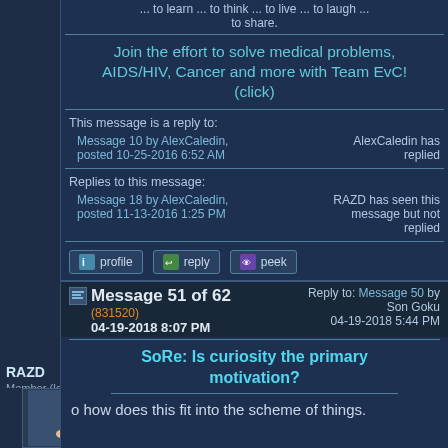... to learn ... to think ... to live ... to laugh ... to share.
Join the effort to solve medical problems, AIDS/HIV, Cancer and more with Team EvC! (click)
This message is a reply to:
Message 10 by AlexCaledin, posted 10-25-2016 6:52 AM
AlexCaledin has replied
Replies to this message:
Message 18 by AlexCaledin, posted 11-13-2016 1:25 PM
RAZD has seen this message but not replied
profile   reply   peek
RAZD
Member (Idle past 732 days)
Message 51 of 62
(831520)
04-19-2018 8:07 PM
Reply to: Message 50 by Son Goku
04-19-2018 5:44 PM
SoRe: Is curiosity the primary motivation?
o how does this fit into the scheme of things.